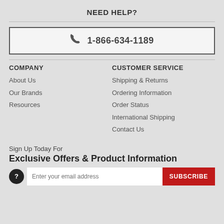NEED HELP?
1-866-634-1189
COMPANY
CUSTOMER SERVICE
About Us
Our Brands
Resources
Shipping & Returns
Ordering Information
Order Status
International Shipping
Contact Us
Sign Up Today For
Exclusive Offers & Product Information
Enter your email address
SUBSCRIBE